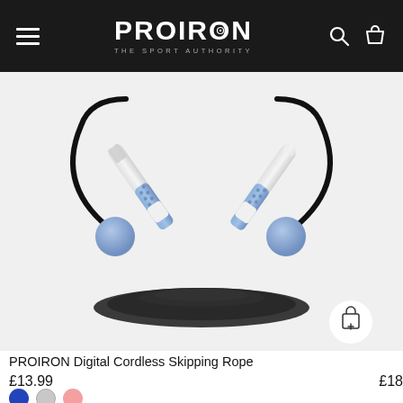PROIRON THE SPORT AUTHORITY
[Figure (photo): PROIRON Digital Cordless Skipping Rope product photo showing two white handles with blue textured grips crossed, weighted blue balls on a coiled black rope, on a white background.]
PROIRON Digital Cordless Skipping Rope
£13.99
£18